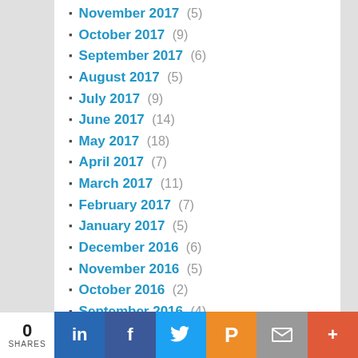November 2017 (5)
October 2017 (9)
September 2017 (6)
August 2017 (5)
July 2017 (9)
June 2017 (14)
May 2017 (18)
April 2017 (7)
March 2017 (11)
February 2017 (7)
January 2017 (5)
December 2016 (6)
November 2016 (5)
October 2016 (2)
September 2016 (4)
August 2016 (5)
July 2016 (3)
June 2016 (5)
May 2016 (5)